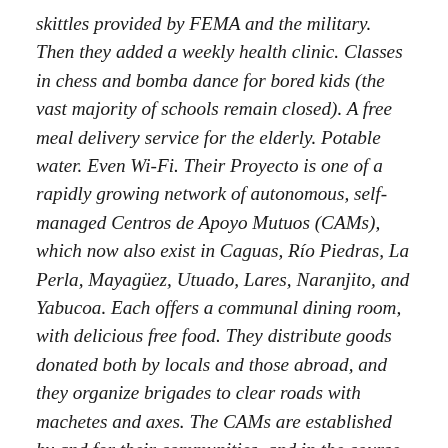skittles provided by FEMA and the military. Then they added a weekly health clinic. Classes in chess and bomba dance for bored kids (the vast majority of schools remain closed). A free meal delivery service for the elderly. Potable water. Even Wi-Fi. Their Proyecto is one of a rapidly growing network of autonomous, self-managed Centros de Apoyo Mutuos (CAMs), which now also exist in Caguas, Río Piedras, La Perla, Mayagüez, Utuado, Lares, Naranjito, and Yabucoa. Each offers a communal dining room, with delicious free food. They distribute goods donated both by locals and those abroad, and they organize brigades to clear roads with machetes and axes. The CAMs are established by and for their communities, and in the course of providing aid, they create spaces for discussion and political organization. In theory and in practice, they resemble the solidarity networks that left-wing Greek activists used to survive their country's financial crisis. In